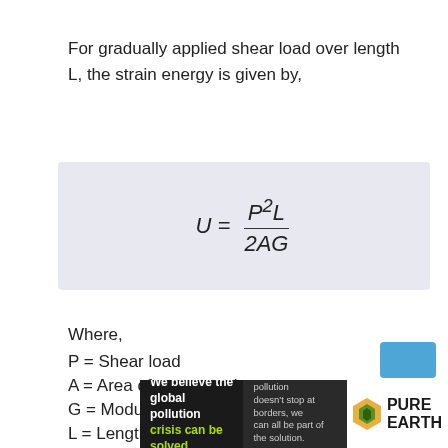For gradually applied shear load over length L, the strain energy is given by,
Where,
P = Shear load
A = Area of cross-section
G = Modulus of rigidity
L = Length of component
[Figure (other): Advertisement banner for Pure Earth: 'We believe the global pollution crisis can be solved.' with Pure Earth logo and 'JOIN US.' call to action.]